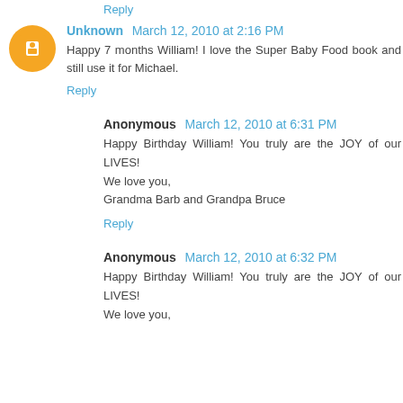Reply
Unknown  March 12, 2010 at 2:16 PM
Happy 7 months William! I love the Super Baby Food book and still use it for Michael.
Reply
Anonymous  March 12, 2010 at 6:31 PM
Happy Birthday William! You truly are the JOY of our LIVES!
We love you,
Grandma Barb and Grandpa Bruce
Reply
Anonymous  March 12, 2010 at 6:32 PM
Happy Birthday William! You truly are the JOY of our LIVES!
We love you,